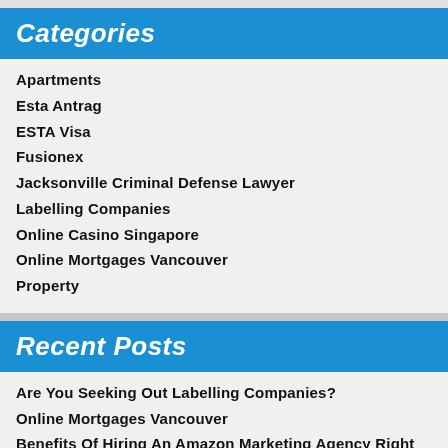Categories
Apartments
Esta Antrag
ESTA Visa
Fusionex
Jacksonville Criminal Defense Lawyer
Labelling Companies
Online Casino Singapore
Online Mortgages Vancouver
Property
Recent Posts
Are You Seeking Out Labelling Companies?
Online Mortgages Vancouver
Benefits Of Hiring An Amazon Marketing Agency Right Now
Choosing The Best Jacksonville Criminal Defense